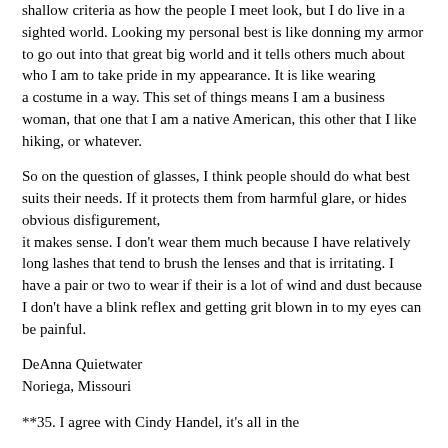shallow criteria as how the people I meet look, but I do live in a sighted world. Looking my personal best is like donning my armor to go out into that great big world and it tells others much about who I am to take pride in my appearance. It is like wearing a costume in a way. This set of things means I am a business woman, that one that I am a native American, this other that I like hiking, or whatever.
So on the question of glasses, I think people should do what best suits their needs. If it protects them from harmful glare, or hides obvious disfigurement, it makes sense. I don't wear them much because I have relatively long lashes that tend to brush the lenses and that is irritating. I have a pair or two to wear if their is a lot of wind and dust because I don't have a blink reflex and getting grit blown in to my eyes can be painful.
DeAnna Quietwater
Noriega, Missouri
**35. I agree with Cindy Handel, it's all in the